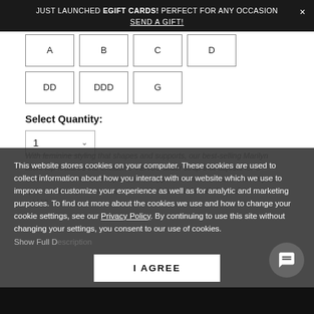JUST LAUNCHED EGIFT CARDS! PERFECT FOR ANY OCCASION × SEND A GIFT!
| A | B | C | D |
| DD | DDD | G |  |
Select Quantity:
1
With feminine styling that shapes and supports, our best-selling Marilyn bikini top features the exclusive VENUS slider strap that adjusts for a custom fit. The molded cups have a supportive underwire and built in push-up to enhance your curves, while wide fabric sashes tie behind the neck to add lift.
This website stores cookies on your computer. These cookies are used to collect information about how you interact with our website which we use to improve and customize your experience as well as for analytic and marketing purposes. To find out more about the cookies we use and how to change your cookie settings, see our Privacy Policy. By continuing to use this site without changing your settings, you consent to our use of cookies.
Show Full Description
I AGREE